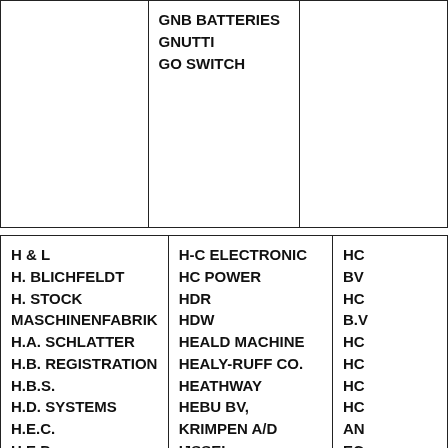|  | GNB BATTERIES
GNUTTI
GO SWITCH |  |
| H & L
H. BLICHFELDT
H. STOCK MASCHINENFABRIK
H.A. SCHLATTER
H.B. REGISTRATION
H.B.S.
H.D. SYSTEMS
H.E.C.
H.E.D.
H.I.H. INDUSTRIAL HANDLING, HARSKAMP
H.K. PORTER
H.P.A. SYSTEMS B.V., MAASSLUIS | H-C ELECTRONIC
HC POWER
HDR
HDW
HEALD MACHINE
HEALY-RUFF CO.
HEATHWAY
HEBU BV, KRIMPEN A/D IJSSEL
HECCON
HEDE NIELSEN
HEDLAND
HEERHUGOWAARD
HEGA
HEGNER & GLASER | HO
BV
HO
B.V
HO
HO
HO
HO
AN
EQ
RA
HO
HO
HO
HO |